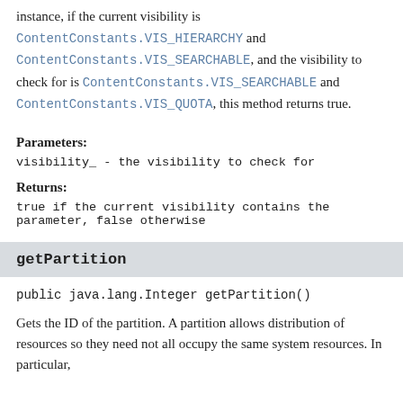instance, if the current visibility is ContentConstants.VIS_HIERARCHY and ContentConstants.VIS_SEARCHABLE, and the visibility to check for is ContentConstants.VIS_SEARCHABLE and ContentConstants.VIS_QUOTA, this method returns true.
Parameters:
visibility_  - the visibility to check for
Returns:
true if the current visibility contains the parameter, false otherwise
getPartition
public java.lang.Integer getPartition()
Gets the ID of the partition. A partition allows distribution of resources so they need not all occupy the same system resources. In particular,